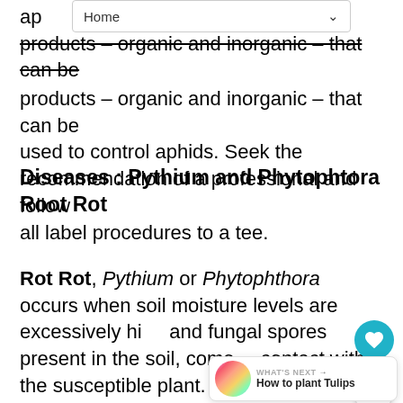Home
ap… products – organic and inorganic – that can be used to control aphids. Seek the recommendation of a professional and follow all label procedures to a tee.
Diseases : Pythium and Phytophtora Root Rot
Rot Rot, Pythium or Phytophthora occurs when soil moisture levels are excessively high and fungal spores present in the soil, come contact with the susceptible plant. The base stems discolor and shrink, and leaves further up the stalk wilt and die. Leaves ne… affected first. The roots will turn black and rot …